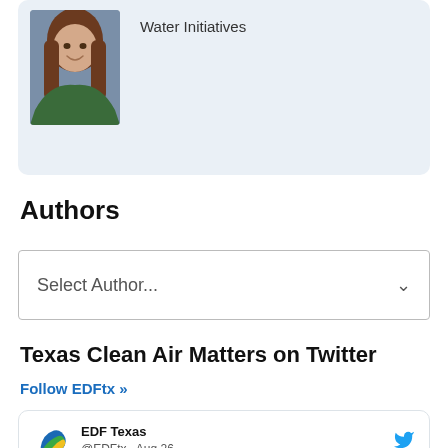[Figure (photo): Profile photo of a woman with long brown hair wearing a green top, shown in a light blue card. Partially visible text above reads 'Water Initiatives'.]
Water Initiatives
Authors
Select Author...
Texas Clean Air Matters on Twitter
Follow EDFtx »
[Figure (logo): EDF Texas logo — a leaf/globe icon in blue, green and yellow.]
EDF Texas @EDFtx · Aug 26
As drought stricken Texas faced severe flash